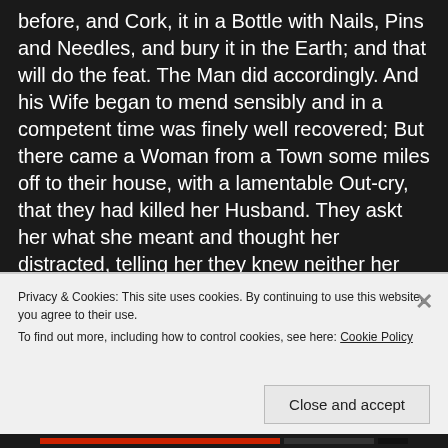before, and Cork, it in a Bottle with Nails, Pins and Needles, and bury it in the Earth; and that will do the feat. The Man did accordingly. And his Wife began to mend sensibly and in a competent time was finely well recovered; But there came a Woman from a Town some miles off to their house, with a lamentable Out-cry, that they had killed her Husband. They askt her what she meant and thought her distracted, telling her they knew neither her nor her Husband. Yes, saith she, you have killed my Husband, he told me so on his Death-bed. But at last they understood by her, that her Husband was a Wizard, and had
Privacy & Cookies: This site uses cookies. By continuing to use this website, you agree to their use.
To find out more, including how to control cookies, see here: Cookie Policy